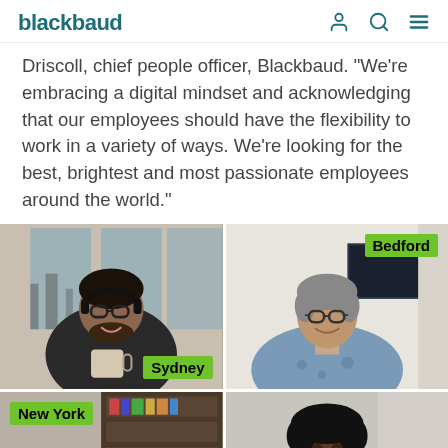blackbaud
Driscoll, chief people officer, Blackbaud. “We’re embracing a digital mindset and acknowledging that our employees should have the flexibility to work in a variety of ways. We’re looking for the best, brightest and most passionate employees around the world.”
[Figure (photo): 2x2 grid of video call screenshots of Blackbaud employees with city name labels: Sydney (man with headphones holding drink), Bedford (woman with glasses smiling), New York (man partially visible), and a fourth unlabeled person.]